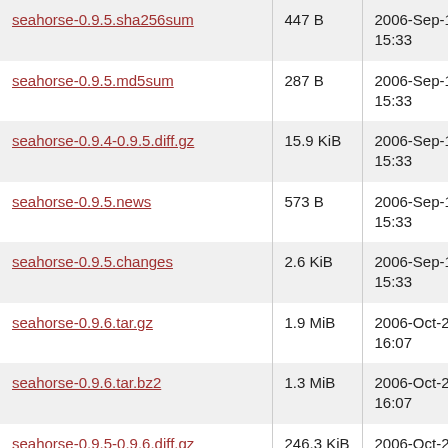| Name | Size | Date |
| --- | --- | --- |
| seahorse-0.9.5.sha256sum | 447 B | 2006-Sep-12 15:33 |
| seahorse-0.9.5.md5sum | 287 B | 2006-Sep-12 15:33 |
| seahorse-0.9.4-0.9.5.diff.gz | 15.9 KiB | 2006-Sep-12 15:33 |
| seahorse-0.9.5.news | 573 B | 2006-Sep-12 15:33 |
| seahorse-0.9.5.changes | 2.6 KiB | 2006-Sep-12 15:33 |
| seahorse-0.9.6.tar.gz | 1.9 MiB | 2006-Oct-26 16:07 |
| seahorse-0.9.6.tar.bz2 | 1.3 MiB | 2006-Oct-26 16:07 |
| seahorse-0.9.5-0.9.6.diff.gz | 246.3 KiB | 2006-Oct-26 16:07 |
| seahorse-0.9.6.news | 792 B | 2006-Oct-26 16:07 |
| seahorse-0.9.6.changes | 8.0 KiB | 2006-Oct-26 16:07 |
| seahorse-0.9.6.sha256sum | 447 B | 2006-Oct-26 16:07 |